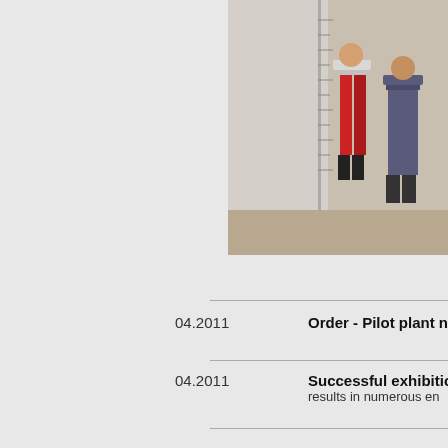[Figure (photo): Photo of people standing next to industrial equipment, a large cylindrical tank or pipe with measurement markings, partially visible on the right side of the page.]
04.2011   Order - Pilot plant no.
04.2011   Successful exhibition results in numerous en
04.2011   Order - Design/Engin
03.2011   Order - Pilot plant We-
02.2011   Order - new Equipme